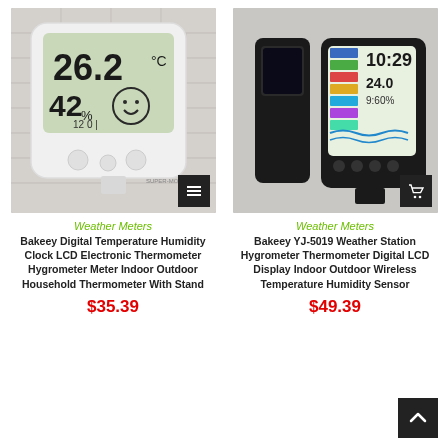[Figure (photo): White digital thermometer/hygrometer clock with LCD display showing 26.2°C and 42% humidity, with smiley face icon, placed on a light surface against a white brick wall background.]
Weather Meters
Bakeey Digital Temperature Humidity Clock LCD Electronic Thermometer Hygrometer Meter Indoor Outdoor Household Thermometer With Stand
$35.39
[Figure (photo): Black weather station with external wireless sensor, showing colorful LCD display with temperature, humidity and time data.]
Weather Meters
Bakeey YJ-5019 Weather Station Hygrometer Thermometer Digital LCD Display Indoor Outdoor Wireless Temperature Humidity Sensor
$49.39